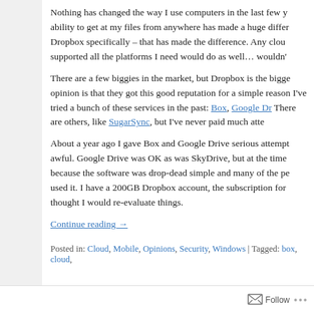Nothing has changed the way I use computers in the last few years as much as cloud storage. The ability to get at my files from anywhere has made a huge difference. It's not specifically Dropbox – that has made the difference. Any cloud storage product that worked well and supported all the platforms I need would do as well… wouldn't it?
There are a few biggies in the market, but Dropbox is the biggest and has the best reputation. My opinion is that they got this good reputation for a simple reason: they made a better product. I've tried a bunch of these services in the past: Box, Google Drive, SkyDrive (now OneDrive). There are others, like SugarSync, but I've never paid much attention to them.
About a year ago I gave Box and Google Drive serious attempts as alternatives. Box for Linux was awful. Google Drive was OK as was SkyDrive, but at the time I stuck with Dropbox mainly because the software was drop-dead simple and many of the people I shared files with already used it. I have a 200GB Dropbox account, the subscription for which was coming up, so I thought I would re-evaluate things.
Continue reading →
Posted in: Cloud, Mobile, Opinions, Security, Windows | Tagged: box, cloud, …